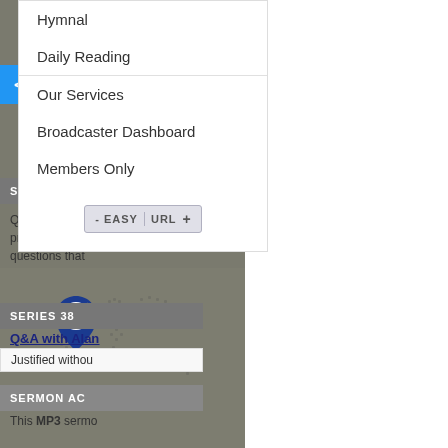Hymnal
Daily Reading
Our Services
Broadcaster Dashboard
Members Only
[Figure (screenshot): Easy URL button with plus sign]
[Figure (map): World map with dotted countries and a blue location pin with SA logo]
[Figure (screenshot): Embed button in blue]
SERMON
Q&A with Alan presented in a questions that
SERIES 38
Q&A with Alan
Justified withou
SERMON AC
This MP3 sermo